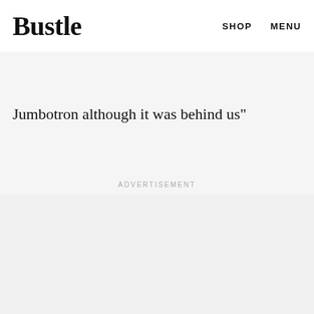Bustle | SHOP   MENU
No idea otherwise tho, we definitely didn't know we were on to and I don't think we were on the
Jumbotron although it was behind us"
ADVERTISEMENT